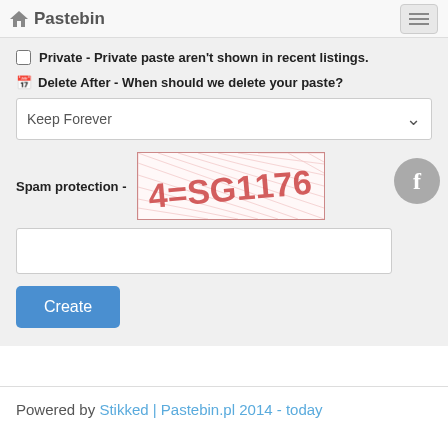🏠 Pastebin
Private - Private paste aren't shown in recent listings.
Delete After - When should we delete your paste?
Keep Forever
Spam protection -
[Figure (other): CAPTCHA image showing handwritten text '4=SG117c' in red on white background with red diagonal hatch lines]
Create
Powered by Stikked | Pastebin.pl 2014 - today